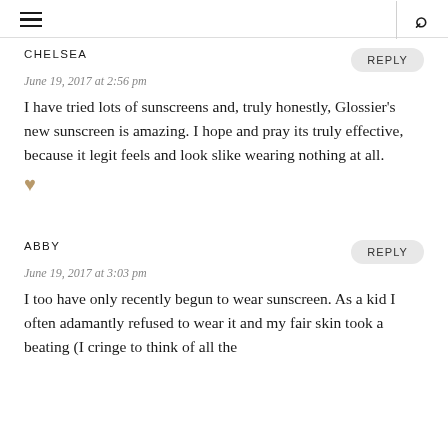≡  Q
CHELSEA
REPLY
June 19, 2017 at 2:56 pm
I have tried lots of sunscreens and, truly honestly, Glossier's new sunscreen is amazing. I hope and pray its truly effective, because it legit feels and look slike wearing nothing at all.
ABBY
REPLY
June 19, 2017 at 3:03 pm
I too have only recently begun to wear sunscreen. As a kid I often adamantly refused to wear it and my fair skin took a beating (I cringe to think of all the